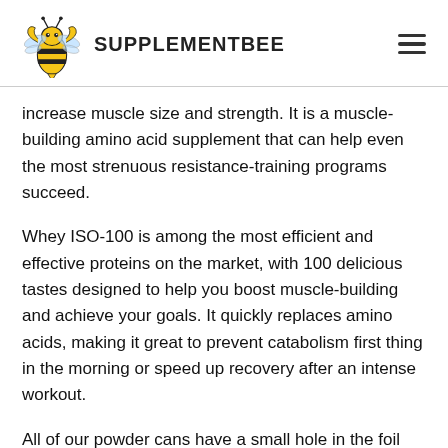SUPPLEMENTBEE
increase muscle size and strength. It is a muscle-building amino acid supplement that can help even the most strenuous resistance-training programs succeed.
Whey ISO-100 is among the most efficient and effective proteins on the market, with 100 delicious tastes designed to help you boost muscle-building and achieve your goals. It quickly replaces amino acids, making it great to prevent catabolism first thing in the morning or speed up recovery after an intense workout.
All of our powder cans have a small hole in the foil seal under the lid. This hole is required to prevent the can from warping during transportation by equalizing any pressure. It makes no difference to the quality of our items.